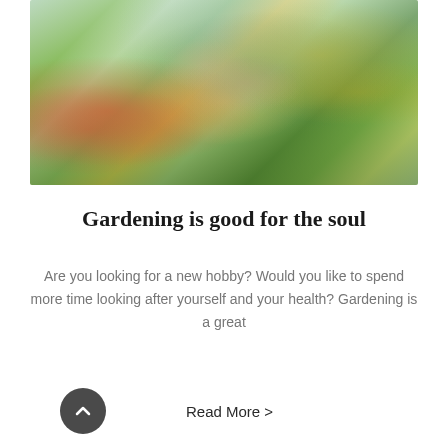[Figure (photo): An elderly person wearing a blue plaid shirt and gardening gloves, trimming yellow flowers in a lush garden with red and orange flowers in the foreground and a house in the background.]
Gardening is good for the soul
Are you looking for a new hobby? Would you like to spend more time looking after yourself and your health? Gardening is a great
Read More >